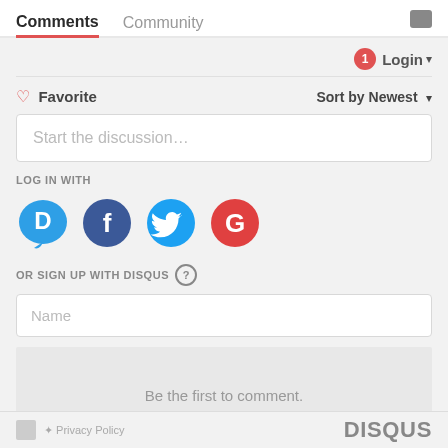Comments   Community
Login ▾
♡ Favorite   Sort by Newest ▾
Start the discussion...
LOG IN WITH
[Figure (logo): Social login icons: Disqus (blue speech bubble with D), Facebook (dark blue circle with f), Twitter (light blue circle with bird), Google (red circle with G)]
OR SIGN UP WITH DISQUS ?
Name
Be the first to comment.
DISQUS